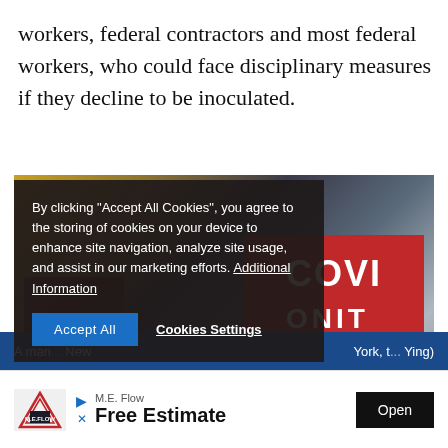workers, federal contractors and most federal workers, who could face disciplinary measures if they decline to be inoculated.
[Figure (photo): Street scene showing a COVID testing site with a red tent labeled 'COVID', people walking including a man wearing a mask with a backpack, urban setting]
By clicking "Accept All Cookies", you agree to the storing of cookies on your device to enhance site navigation, analyze site usage, and assist in our marketing efforts. Additional Information
Accept All   Cookies Settings
A man... New York, t... Ying)
M.E. Flow
Free Estimate
Open